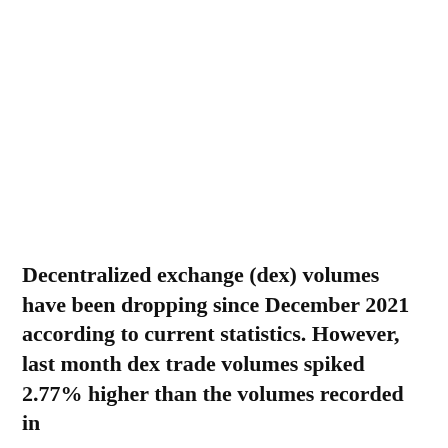Decentralized exchange (dex) volumes have been dropping since December 2021 according to current statistics. However, last month dex trade volumes spiked 2.77% higher than the volumes recorded in